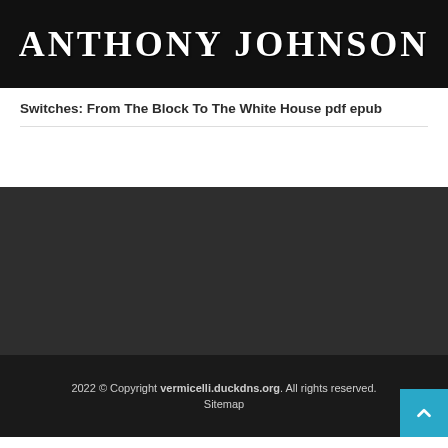[Figure (photo): Book cover image with 'ANTHONY JOHNSON' text in large white serif letters on a black background]
Switches: From The Block To The White House pdf epub
[Figure (other): Dark gray advertisement or content block area]
2022 © Copyright vermicelli.duckdns.org. All rights reserved. Sitemap